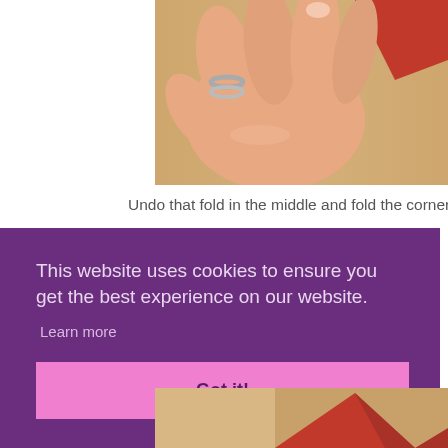[Figure (photo): Close-up photo of a hand with rings pressing down on a wooden surface with a red paper/origami piece visible]
Undo that fold in the middle and fold the corners of the rectangle do
This website uses cookies to ensure you get the best experience on our website.
Learn more
Got it!
[Figure (photo): Partial photo of red origami paper folded into a shape on a wooden surface]